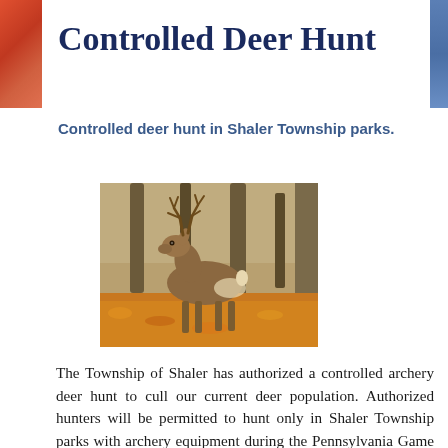Controlled Deer Hunt
Controlled deer hunt in Shaler Township parks.
[Figure (photo): A white-tailed buck standing among trees on a forest floor covered with fallen autumn leaves.]
The Township of Shaler has authorized a controlled archery deer hunt to cull our current deer population. Authorized hunters will be permitted to hunt only in Shaler Township parks with archery equipment during the Pennsylvania Game Commission's designated archery season. The program began several years ago after complaints about deer began to increase. The township, on average, receives between 150 and 200